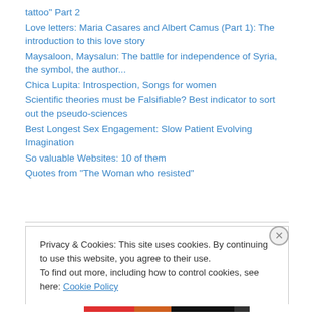tattoo" Part 2
Love letters: Maria Casares and Albert Camus (Part 1): The introduction to this love story
Maysaloon, Maysalun: The battle for independence of Syria, the symbol, the author...
Chica Lupita: Introspection, Songs for women
Scientific theories must be Falsifiable? Best indicator to sort out the pseudo-sciences
Best Longest Sex Engagement: Slow Patient Evolving Imagination
So valuable Websites: 10 of them
Quotes from "The Woman who resisted"
Privacy & Cookies: This site uses cookies. By continuing to use this website, you agree to their use.
To find out more, including how to control cookies, see here: Cookie Policy
Close and accept